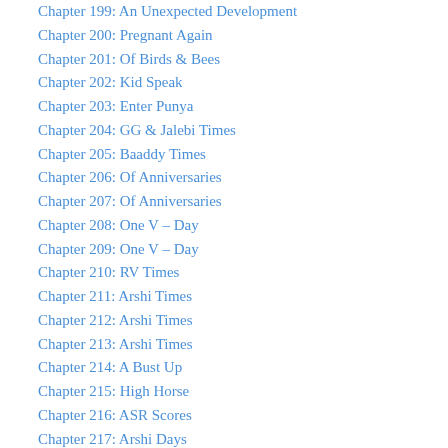Chapter 199: An Unexpected Development
Chapter 200: Pregnant Again
Chapter 201: Of Birds & Bees
Chapter 202: Kid Speak
Chapter 203: Enter Punya
Chapter 204: GG & Jalebi Times
Chapter 205: Baaddy Times
Chapter 206: Of Anniversaries
Chapter 207: Of Anniversaries
Chapter 208: One V – Day
Chapter 209: One V – Day
Chapter 210: RV Times
Chapter 211: Arshi Times
Chapter 212: Arshi Times
Chapter 213: Arshi Times
Chapter 214: A Bust Up
Chapter 215: High Horse
Chapter 216: ASR Scores
Chapter 217: Arshi Days
Chapter 218: Family S…